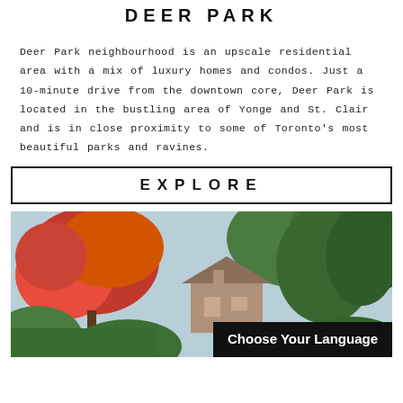DEER PARK
Deer Park neighbourhood is an upscale residential area with a mix of luxury homes and condos. Just a 10-minute drive from the downtown core, Deer Park is located in the bustling area of Yonge and St. Clair and is in close proximity to some of Toronto's most beautiful parks and ravines.
EXPLORE
[Figure (photo): Outdoor photo of Deer Park neighbourhood showing colourful autumn trees (red and green foliage) with a house visible in the background]
Choose Your Language